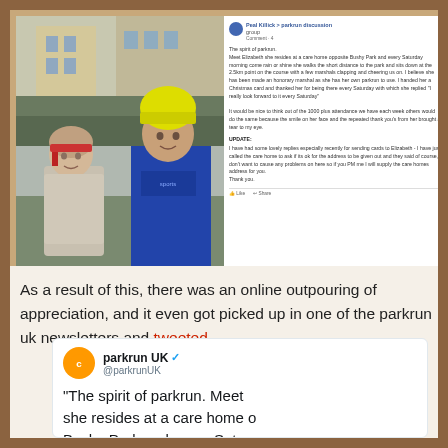[Figure (screenshot): Facebook post by Peal Killick in parkrun discussion group showing an elderly woman and a man in a yellow beanie hat posing together outdoors, alongside text about Elizabeth who walks to Bushy Park every Saturday from a care home. The post describes her as an honorary marshal and thanks her for her dedication. UPDATE section mentions cards being sent and contacting the care home for address.]
As a result of this, there was an online outpouring of appreciation, and it even got picked up in one of the parkrun uk newsletters and tweeted
[Figure (screenshot): Twitter embed from @parkrunUK (verified account) with orange parkrun logo avatar. Tweet begins: 'The spirit of parkrun. Meet she resides at a care home opposite Bushy Park and every Saturd... come rain or shine she walk...']